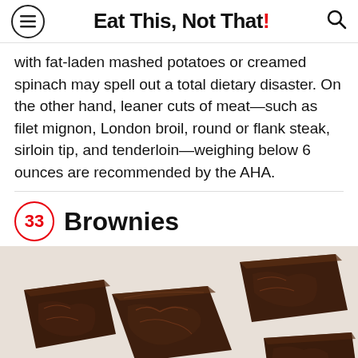Eat This, Not That!
with fat-laden mashed potatoes or creamed spinach may spell out a total dietary disaster. On the other hand, leaner cuts of meat—such as filet mignon, London broil, round or flank steak, sirloin tip, and tenderloin—weighing below 6 ounces are recommended by the AHA.
33 Brownies
[Figure (photo): Overhead photo of chocolate brownies on a white background, showing several square brownie pieces with crinkled tops scattered around.]